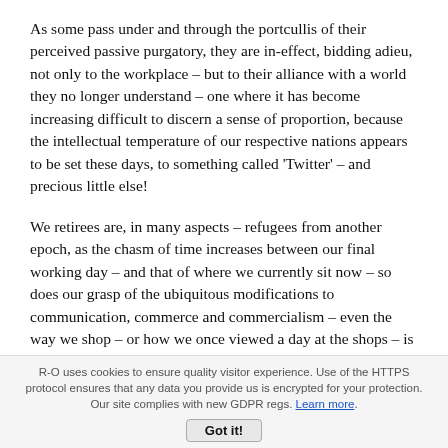As some pass under and through the portcullis of their perceived passive purgatory, they are in-effect, bidding adieu, not only to the workplace – but to their alliance with a world they no longer understand – one where it has become increasing difficult to discern a sense of proportion, because the intellectual temperature of our respective nations appears to be set these days, to something called ‘Twitter’ – and precious little else!
We retirees are, in many aspects – refugees from another epoch, as the chasm of time increases between our final working day – and that of where we currently sit now – so does our grasp of the ubiquitous modifications to communication, commerce and commercialism – even the way we shop – or how we once viewed a day at the shops – is under attack too!
Whilst Christmas shopping in London a few weeks ago in the company of my wife, an annual mission that we had not undertaken together for many years – all thanks to the draconian demands of the workplace. I came to recognise that.
R-O uses cookies to ensure quality visitor experience. Use of the HTTPS protocol ensures that any data you provide us is encrypted for your protection. Our site complies with new GDPR regs. Learn more.